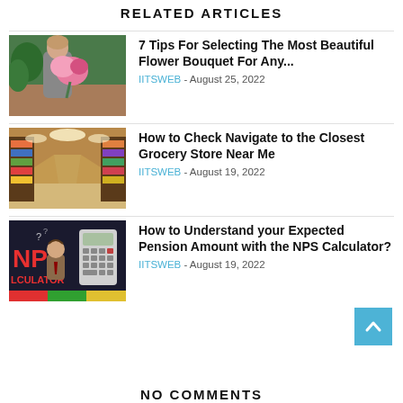RELATED ARTICLES
[Figure (photo): Florist woman holding pink flower bouquet in a flower shop]
7 Tips For Selecting The Most Beautiful Flower Bouquet For Any...
IITSWEB - August 25, 2022
[Figure (photo): Grocery store aisle interior with shelves of products]
How to Check Navigate to the Closest Grocery Store Near Me
IITSWEB - August 19, 2022
[Figure (illustration): NPS Calculator illustration with cartoon character and calculator on dark background]
How to Understand your Expected Pension Amount with the NPS Calculator?
IITSWEB - August 19, 2022
NO COMMENTS